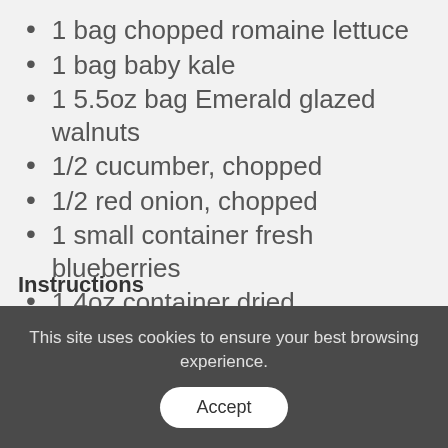1 bag chopped romaine lettuce
1 bag baby kale
1 5.5oz bag Emerald glazed walnuts
1/2 cucumber, chopped
1/2 red onion, chopped
1 small container fresh blueberries
1 4oz container dried cranberries
1 8oz bag pepitas (or sunflower seeds)
1 bottle strawberry vinaigrette
Spray oil
This site uses cookies to ensure your best browsing experience. Accept
Instructions